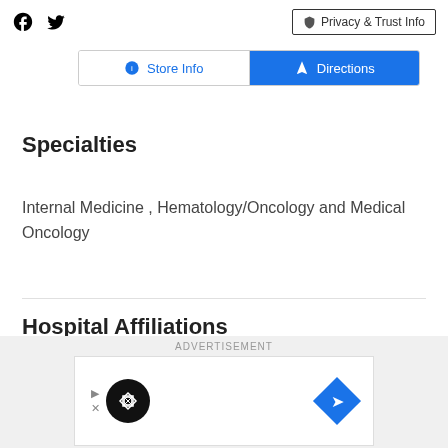Facebook Twitter | Privacy & Trust Info
[Figure (screenshot): Store Info and Directions buttons bar]
Specialties
Internal Medicine , Hematology/Oncology and Medical Oncology
Hospital Affiliations
St Francis Hospital
[Figure (other): Advertisement banner with play icon and navigation arrow]